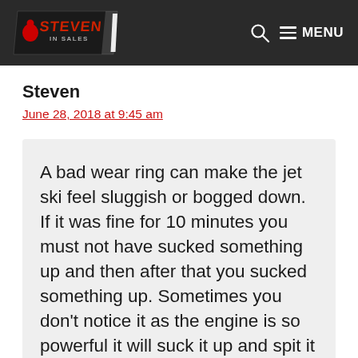[Figure (logo): Steven in Sales website logo with stylized red and white text on dark background with checkered flag motif]
Steven
June 28, 2018 at 9:45 am
A bad wear ring can make the jet ski feel sluggish or bogged down. If it was fine for 10 minutes you must not have sucked something up and then after that you sucked something up. Sometimes you don't notice it as the engine is so powerful it will suck it up and spit it back out but still leave a groove in the wear ring or chip it.